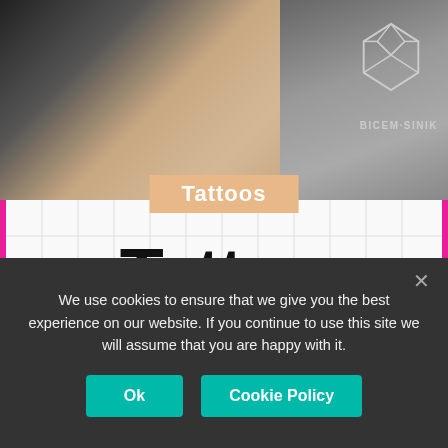[Figure (photo): Top banner photo split: left side shows a skin/wrist area with a geometric tattoo in black and white, right side shows grey stone-like background with a gem/crystal line-art logo and text BICEM·SINIK]
Tattoos
Tattoo Trends 2018
DAS SIND DIE NEUEN
We use cookies to ensure that we give you the best experience on our website. If you continue to use this site we will assume that you are happy with it.